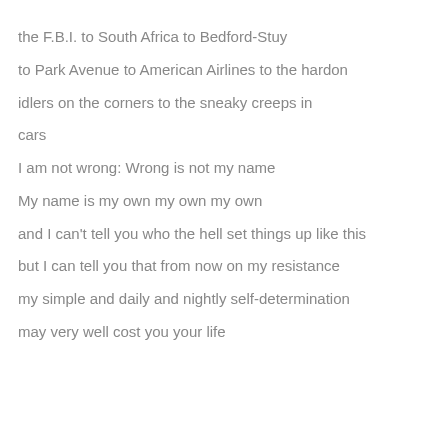the F.B.I. to South Africa to Bedford-Stuy
to Park Avenue to American Airlines to the hardon
idlers on the corners to the sneaky creeps in
cars
I am not wrong: Wrong is not my name
My name is my own my own my own
and I can't tell you who the hell set things up like this
but I can tell you that from now on my resistance
my simple and daily and nightly self-determination
may very well cost you your life